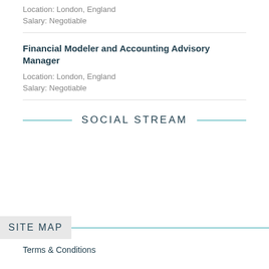Location: London, England
Salary: Negotiable
Financial Modeler and Accounting Advisory Manager
Location: London, England
Salary: Negotiable
SOCIAL STREAM
SITE MAP
Terms & Conditions